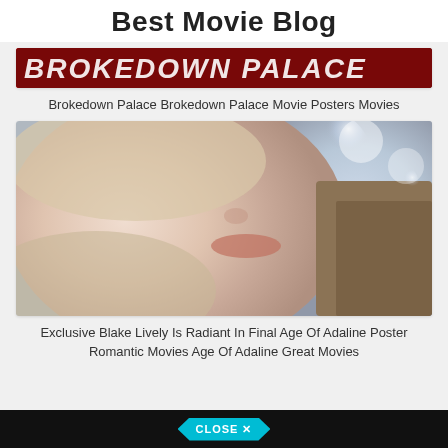Best Movie Blog
[Figure (photo): Brokedown Palace movie banner/poster image with red and dark background and stylized italic text]
Brokedown Palace Brokedown Palace Movie Posters Movies
[Figure (photo): Close-up romantic photo of a woman's face and a man with beard, soft bokeh background, warm tones]
Exclusive Blake Lively Is Radiant In Final Age Of Adaline Poster Romantic Movies Age Of Adaline Great Movies
[Figure (other): Bottom bar with CLOSE X button in teal diamond/arrow shape on dark background]